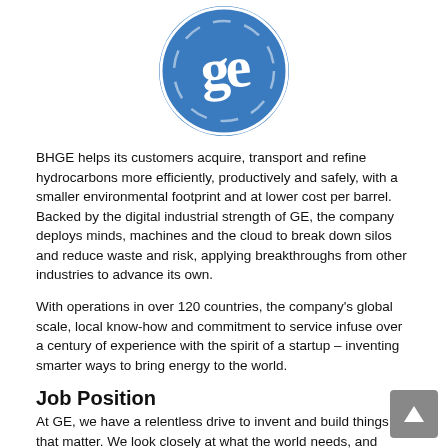[Figure (logo): GE (General Electric) circular blue logo with stylized GE monogram in white]
BHGE helps its customers acquire, transport and refine hydrocarbons more efficiently, productively and safely, with a smaller environmental footprint and at lower cost per barrel. Backed by the digital industrial strength of GE, the company deploys minds, machines and the cloud to break down silos and reduce waste and risk, applying breakthroughs from other industries to advance its own.
With operations in over 120 countries, the company's global scale, local know-how and commitment to service infuse over a century of experience with the spirit of a startup – inventing smarter ways to bring energy to the world.
Job Position
At GE, we have a relentless drive to invent and build things that matter. We look closely at what the world needs, and together we build a world that works better. Join our growing teams to help us build, power, move, cure and connect the world.
1. Field Spec II